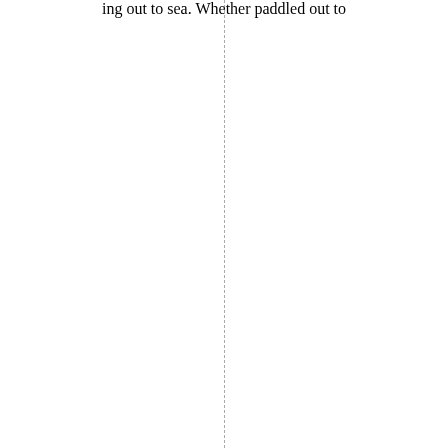ing out to sea. Whether paddled out to